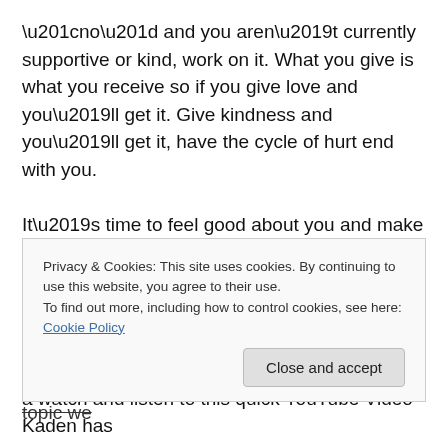“no” and you aren’t currently supportive or kind, work on it. What you give is what you receive so if you give love and you’ll get it. Give kindness and you’ll get it, have the cycle of hurt end with you.
It’s time to feel good about you and make wise choices for yourself. You deserve love and to live a life you love.
##########
ED Note: I want to also share with you another topic we
Privacy & Cookies: This site uses cookies. By continuing to use this website, you agree to their use.
To find out more, including how to control cookies, see here: Cookie Policy
a watch and listen to this quick YouTube Video Kaden has